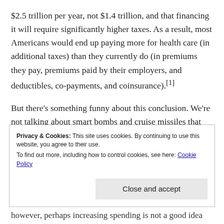$2.5 trillion per year, not $1.4 trillion, and that financing it will require significantly higher taxes. As a result, most Americans would end up paying more for health care (in additional taxes) than they currently do (in premiums they pay, premiums paid by their employers, and deductibles, co-payments, and coinsurance).[1]
But there's something funny about this conclusion. We're not talking about smart bombs and cruise missiles that will explode somewhere in the Middle East. We're talking about health care services being provided to Americans. So if we (in the aggregate) have to pay more in taxes, we're
Privacy & Cookies: This site uses cookies. By continuing to use this website, you agree to their use. To find out more, including how to control cookies, see here: Cookie Policy
however, perhaps increasing spending is not a good idea